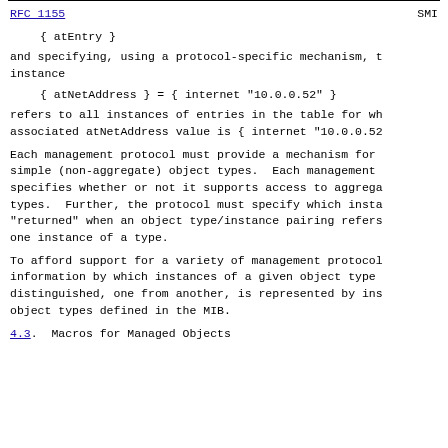RFC 1155                                SMI
{ atEntry }
and specifying, using a protocol-specific mechanism, t
instance
{ atNetAddress } = { internet "10.0.0.52" }
refers to all instances of entries in the table for wh
associated atNetAddress value is { internet "10.0.0.52
Each management protocol must provide a mechanism for
simple (non-aggregate) object types.  Each management
specifies whether or not it supports access to aggrega
types.  Further, the protocol must specify which insta
"returned" when an object type/instance pairing refers
one instance of a type.
To afford support for a variety of management protocol
information by which instances of a given object type
distinguished, one from another, is represented by ins
object types defined in the MIB.
4.3. Macros for Managed Objects